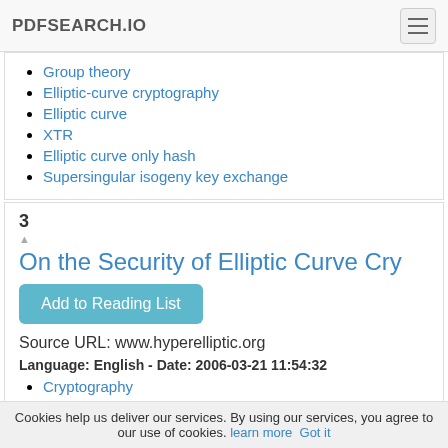PDFSEARCH.IO
Group theory
Elliptic-curve cryptography
Elliptic curve
XTR
Elliptic curve only hash
Supersingular isogeny key exchange
3
On the Security of Elliptic Curve Cry
Add to Reading List
Source URL: www.hyperelliptic.org
Language: English - Date: 2006-03-21 11:54:32
Cryptography
Abstract algebra
Algebra
Cookies help us deliver our services. By using our services, you agree to our use of cookies. learn more  Got it